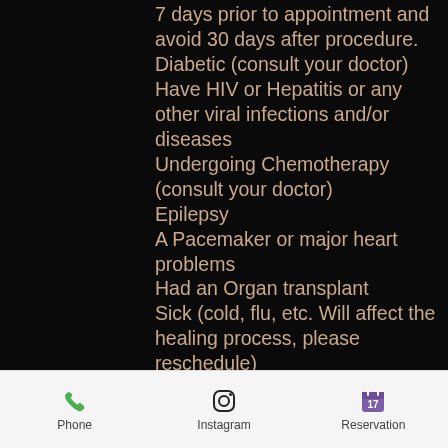7 days prior to appointment and avoid 30 days after procedure.
Diabetic (consult your doctor)
Have HIV or Hepatitis or any other viral infections and/or diseases
Undergoing Chemotherapy (consult your doctor)
Epilepsy
A Pacemaker or major heart problems
Had an Organ transplant
Sick (cold, flu, etc. Will affect the healing process, please reschedule)
You generally don't heal well and develop infections easily
If your old tattoo or previous tattoo and or previous PMU work done by another artist a consultation is required
Phone   Instagram   Reservation